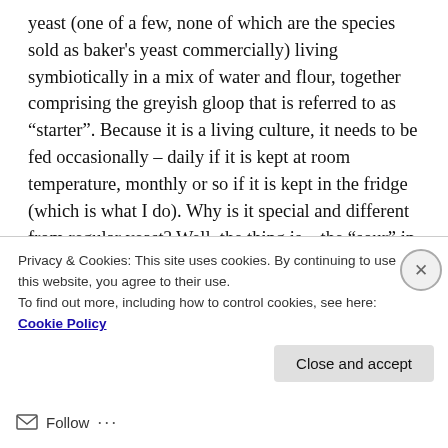yeast (one of a few, none of which are the species sold as baker's yeast commercially) living symbiotically in a mix of water and flour, together comprising the greyish gloop that is referred to as “starter”. Because it is a living culture, it needs to be fed occasionally – daily if it is kept at room temperature, monthly or so if it is kept in the fridge (which is what I do). Why is it special and different from regular yeast? Well, the thing is – the “sour” in sourdough – the part that makes it both, taste great and helps preserve it for days on end when regular bread would just go moldy – are organic acids (lactic and acetic) which are produced by the aforementioned bacteria. And the yeast that is living in the starter must
Privacy & Cookies: This site uses cookies. By continuing to use this website, you agree to their use.
To find out more, including how to control cookies, see here: Cookie Policy
Close and accept
Follow